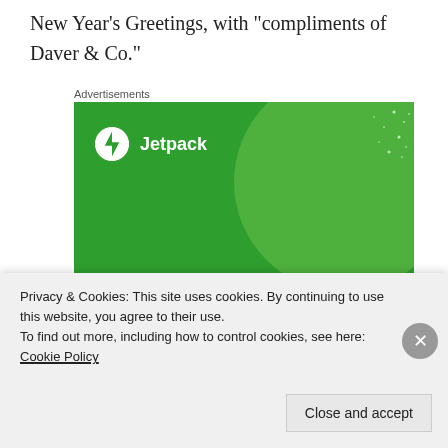New Year’s Greetings, with “compliments of Daver & Co.”
Advertisements
[Figure (illustration): Jetpack WordPress plugin advertisement on green background. Shows Jetpack logo (circle with lightning bolt icon) and tagline 'The best real-time WordPress backup plugin' with a 'Back up your site' button.]
Privacy & Cookies: This site uses cookies. By continuing to use this website, you agree to their use.
To find out more, including how to control cookies, see here: Cookie Policy
Close and accept